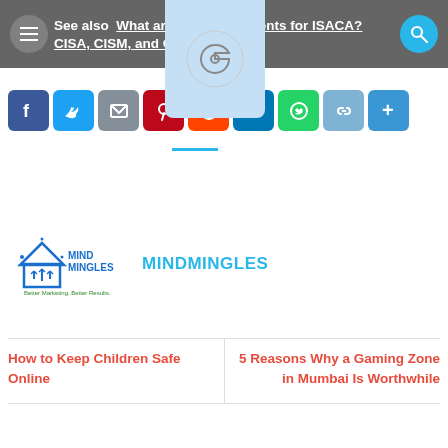See also  What are the requirements for ISACA? CISA, CISM, and CRISC
[Figure (logo): Google G logo in a light blue rounded square overlay]
[Figure (infographic): Social media share buttons row: Facebook, Twitter, Email, Pinterest, Reddit, LinkedIn, WhatsApp, Copy link, More]
[Figure (logo): MindMingles logo - house with upward arrows icon and text MIND MINGLES Better Marketing. Better Results.]
MINDMINGLES
How to Keep Children Safe Online
5 Reasons Why a Gaming Zone in Mumbai Is Worthwhile